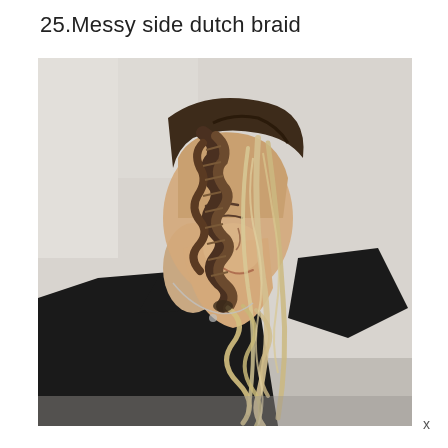25.Messy side dutch braid
[Figure (photo): A young woman with long blonde ombre hair styled in a messy side dutch braid, wearing a black t-shirt, photographed from the side against a light grey/white background. The braid runs from the top of her head down to the side, with loose wavy ends falling over her shoulder.]
x